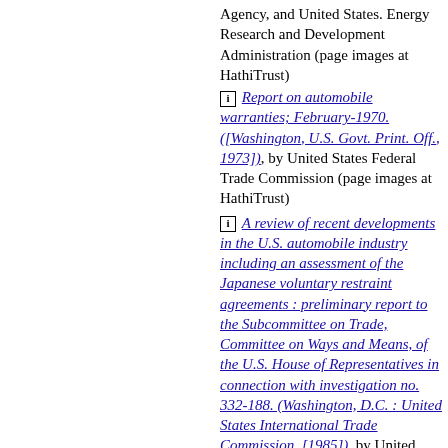Agency, and United States. Energy Research and Development Administration (page images at HathiTrust)
[i] Report on automobile warranties; February-1970. ([Washington, U.S. Govt. Print. Off., 1973]), by United States Federal Trade Commission (page images at HathiTrust)
[i] A review of recent developments in the U.S. automobile industry including an assessment of the Japanese voluntary restraint agreements : preliminary report to the Subcommittee on Trade, Committee on Ways and Means, of the U.S. House of Representatives in connection with investigation no. 332-188. (Washington, D.C. : United States International Trade Commission, [1985]), by United States Congress, House.